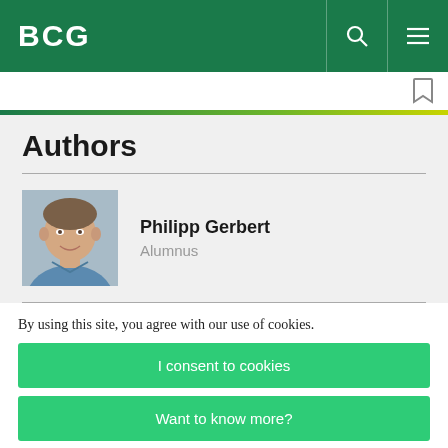BCG
Authors
Philipp Gerbert
Alumnus
By using this site, you agree with our use of cookies.
I consent to cookies
Want to know more?
Read our Cookie Policy